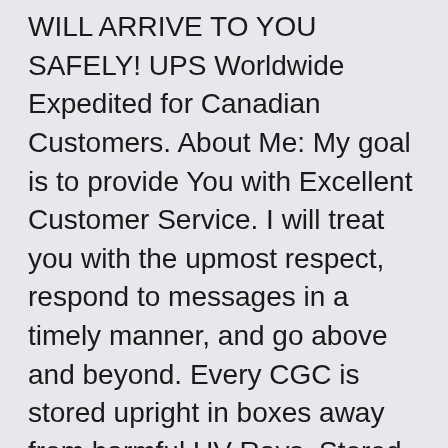WILL ARRIVE TO YOU SAFELY! UPS Worldwide Expedited for Canadian Customers. About Me: My goal is to provide You with Excellent Customer Service. I will treat you with the upmost respect, respond to messages in a timely manner, and go above and beyond. Every CGC is stored upright in boxes away from harmful UV Rays. Stored in a temperature and humidity controlled environment to preserve their pristine quality. If you have any other questions, - feel free to send a message. I will respond ASAP. Thanks and have a nice day. This item is in the category “Collectibles\Comic Books & Memorabilia\Comics\Comics & Graphic Novels”. The seller is “rarekeycomics” and is located in this country: US. This item can be shipped to United